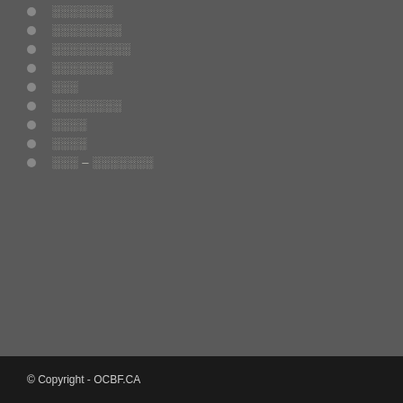░░░░░░░
░░░░░░░░
░░░░░░░░░
░░░░░░░
░░░
░░░░░░░░
░░░░
░░░░
░░░ – ░░░░░░░
© Copyright - OCBF.CA